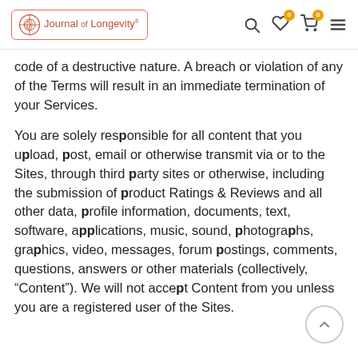Journal of Longevity
code of a destructive nature. A breach or violation of any of the Terms will result in an immediate termination of your Services.
You are solely responsible for all content that you upload, post, email or otherwise transmit via or to the Sites, through third party sites or otherwise, including the submission of product Ratings & Reviews and all other data, profile information, documents, text, software, applications, music, sound, photographs, graphics, video, messages, forum postings, comments, questions, answers or other materials (collectively, “Content”). We will not accept Content from you unless you are a registered user of the Sites.